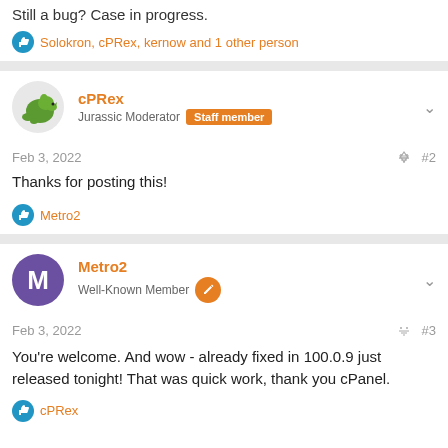Still a bug? Case in progress.
Solokron, cPRex, kernow and 1 other person
cPRex
Jurassic Moderator  Staff member
Feb 3, 2022  #2
Thanks for posting this!
Metro2
Metro2
Well-Known Member
Feb 3, 2022  #3
You're welcome. And wow - already fixed in 100.0.9 just released tonight! That was quick work, thank you cPanel.
cPRex